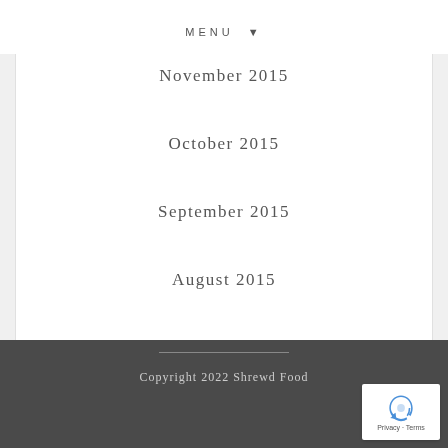MENU ▾
November 2015
October 2015
September 2015
August 2015
July 2015
June 2015
Copyright 2022 Shrewd Food